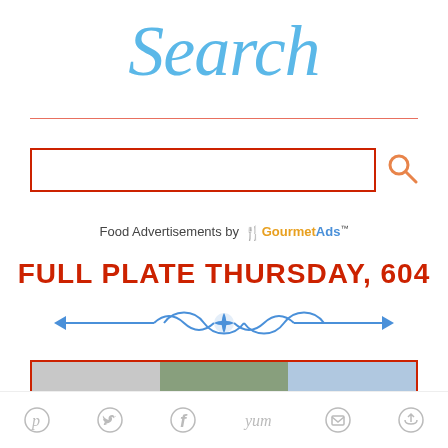Search
[Figure (other): Decorative horizontal salmon-pink divider line]
[Figure (other): Search input box with red border and orange search magnifier icon]
Food Advertisements by GourmetAds™
FULL PLATE THURSDAY, 604
[Figure (other): Blue decorative ornamental divider with arrows and floral scroll motif]
[Figure (other): Partial image strip at bottom with red border, showing cropped food images]
[Figure (other): Social sharing icon bar with Pinterest, Twitter, Facebook, Yummly, Email, and another share icon in grey]